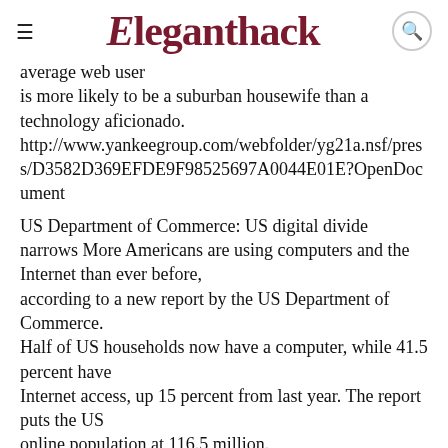Eleganthack
average web user is more likely to be a suburban housewife than a technology aficionado. http://www.yankeegroup.com/webfolder/yg21a.nsf/press/D3582D369EFDE9F98525697A0044E01E?OpenDocument
US Department of Commerce: US digital divide narrows More Americans are using computers and the Internet than ever before, according to a new report by the US Department of Commerce. Half of US households now have a computer, while 41.5 percent have Internet access, up 15 percent from last year. The report puts the US online population at 116.5 million.